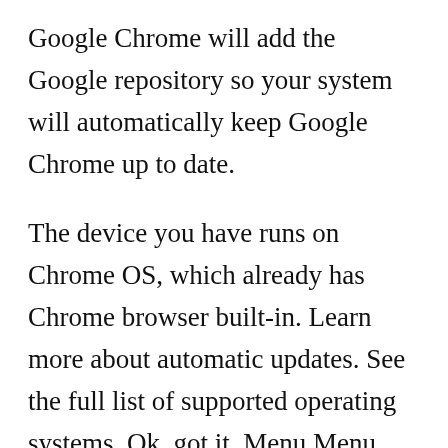Google Chrome will add the Google repository so your system will automatically keep Google Chrome up to date.
The device you have runs on Chrome OS, which already has Chrome browser built-in. Learn more about automatic updates. See the full list of supported operating systems. Ok, got it. Menu Menu. Download Chrome. I want to update Chrome. For Mac OS X Learn how to update. Set Google Chrome as my default browser. Help make Google Chrome